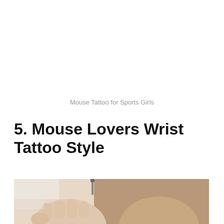Mouse Tattoo for Sports Girls
5. Mouse Lovers Wrist Tattoo Style
[Figure (photo): Photo of two wrists held together, one with a small mouse tattoo visible on the wrist. One hand is making a fist. A tattoo needle/pen is visible near the top.]